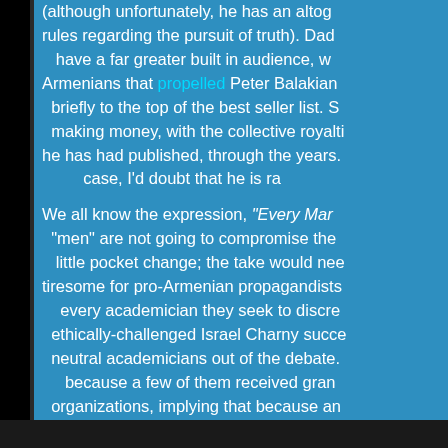(although unfortunately, he has an altogether different rules regarding the pursuit of truth). Dad would have a far greater built in audience, w... Armenians that propelled Peter Balakian briefly to the top of the best seller list. S... making money, with the collective royalti... he has had published, through the years. case, I'd doubt that he is ra...

We all know the expression, "Every Man..." "men" are not going to compromise the... little pocket change; the take would nee... tiresome for pro-Armenian propagandists... every academician they seek to discre... ethically-challenged Israel Charny succe... neutral academicians out of the debate. ...because a few of them received gran... organizations, implying that because an... be controlled from Turkey's Stalinist sy... were paid agents of the sinister Turkish g... people have any scruples, wh...